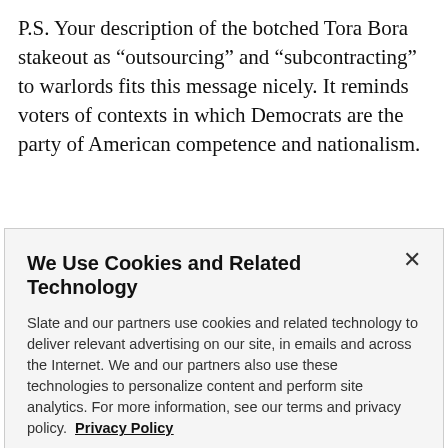P.S. Your description of the botched Tora Bora stakeout as “outsourcing” and “subcontracting” to warlords fits this message nicely. It reminds voters of contexts in which Democrats are the party of American competence and nationalism.
5. Frame your multilateralism as optimism. You made a good case this morning that multilateralism is what
We Use Cookies and Related Technology
Slate and our partners use cookies and related technology to deliver relevant advertising on our site, in emails and across the Internet. We and our partners also use these technologies to personalize content and perform site analytics. For more information, see our terms and privacy policy. Privacy Policy
OK